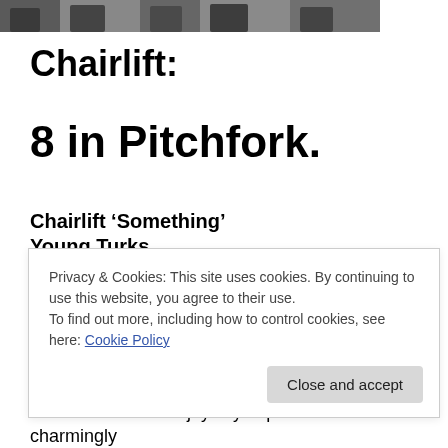[Figure (photo): Partial image of people/band members at top of page, partially cropped]
Chairlift:
8 in Pitchfork.
Chairlift 'Something'
Young Turks
By Matthew Perpetua
“Chairlift’s second full-length, Something, is a major
Privacy & Cookies: This site uses cookies. By continuing to use this website, you agree to their use.
To find out more, including how to control cookies, see here: Cookie Policy
alternates between joyfully expressive and charmingly